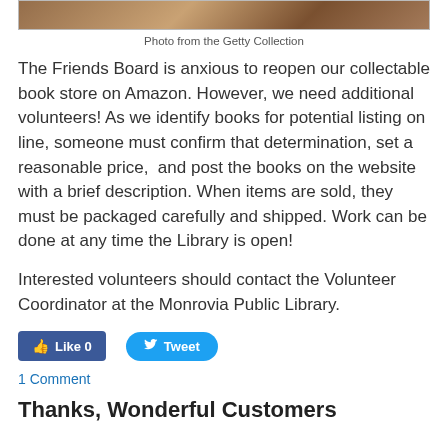[Figure (photo): Bottom portion of a photo showing old collectible books, top edge visible against white background]
Photo from the Getty Collection
The Friends Board is anxious to reopen our collectable book store on Amazon. However, we need additional volunteers! As we identify books for potential listing on line, someone must confirm that determination, set a reasonable price,  and post the books on the website with a brief description. When items are sold, they must be packaged carefully and shipped. Work can be done at any time the Library is open!
Interested volunteers should contact the Volunteer Coordinator at the Monrovia Public Library.
[Figure (screenshot): Facebook Like button showing Like 0 and Twitter Tweet button]
1 Comment
Thanks, Wonderful Customers